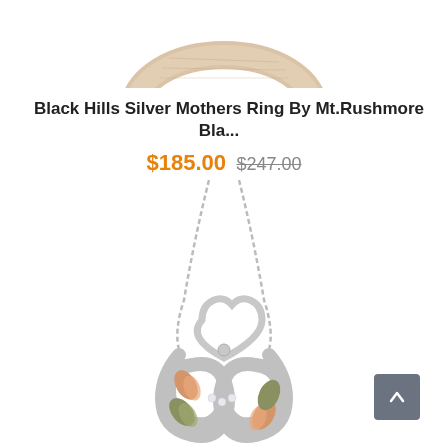[Figure (photo): Partial top view of a ring product, cropped at the top of the page, showing a gold/silver ring on white background]
Black Hills Silver Mothers Ring By Mt.Rushmore Bla...
$185.00  $247.00
[Figure (photo): Black Hills Silver heart infinity pendant necklace with rose gold and green gold leaf accents and diamond accent stones, shown on a silver chain against white background]
[Figure (other): Scroll-to-top button, gray rounded rectangle with upward chevron arrow icon]